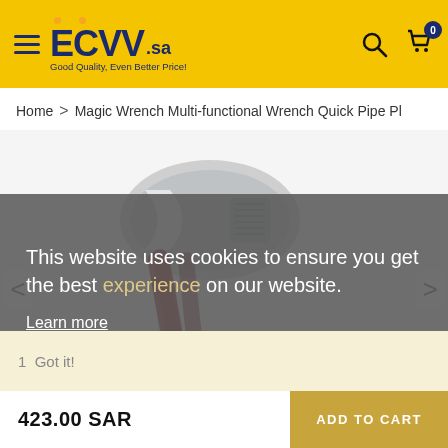[Figure (logo): ECVV.sa logo with orange dots above letters, tagline 'Good Quality, Even Better Price!' on yellow background header with hamburger menu, search icon, and cart icon with badge 0]
Home > Magic Wrench Multi-functional Wrench Quick Pipe Pl
[Figure (photo): Product image of a magic wrench / multi-functional pipe plier tool, silver and red colored, shown on white background]
This website uses cookies to ensure you get the best experience on our website.
Learn more
1  Got it!
423.00 SAR
ADD TO CART